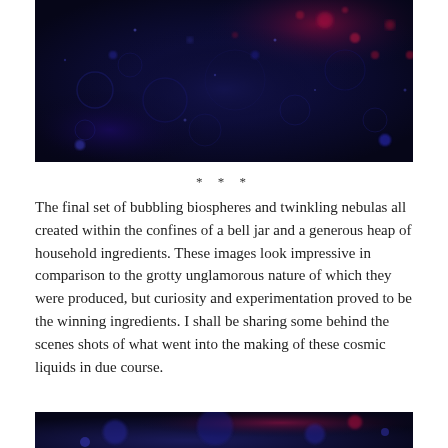[Figure (photo): Dark blue and black macro photograph showing bubbles and liquid with red and blue highlights, resembling a cosmic nebula or biosphere]
* * *
The final set of bubbling biospheres and twinkling nebulas all created within the confines of a bell jar and a generous heap of household ingredients. These images look impressive in comparison to the grotty unglamorous nature of which they were produced, but curiosity and experimentation proved to be the winning ingredients. I shall be sharing some behind the scenes shots of what went into the making of these cosmic liquids in due course.
[Figure (photo): Dark blue macro photograph of cosmic liquid, partially visible at the bottom of the page]